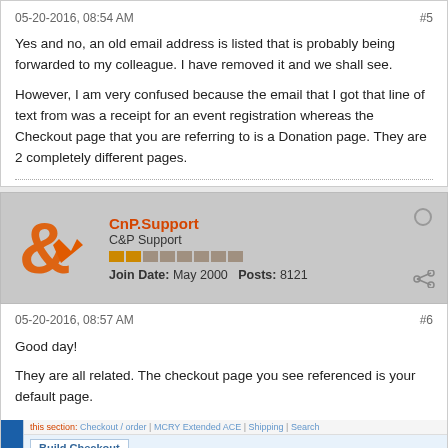Yes and no, an old email address is listed that is probably being forwarded to my colleague. I have removed it and we shall see.

However, I am very confused because the email that I got that line of text from was a receipt for an event registration whereas the Checkout page that you are referring to is a Donation page. They are 2 completely different pages.
CnP.Support
C&P Support
Join Date: May 2000   Posts: 8121
05-20-2016, 08:57 AM
#6

Good day!

They are all related. The checkout page you see referenced is your default page.
[Figure (screenshot): Screenshot of a Build Checkout admin page with tabs: Basics, Settings, Customize, Gifts, Accepted Cards, Themes, Notifications]